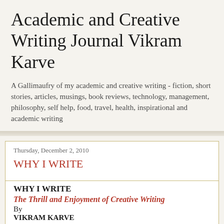Academic and Creative Writing Journal Vikram Karve
A Gallimaufry of my academic and creative writing - fiction, short stories, articles, musings, book reviews, technology, management, philosophy, self help, food, travel, health, inspirational and academic writing
Thursday, December 2, 2010
WHY I WRITE
WHY I WRITE
The Thrill and Enjoyment of Creative Writing
By
VIKRAM KARVE
The ...